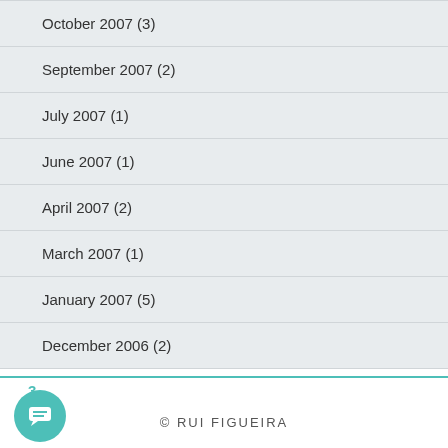October 2007 (3)
September 2007 (2)
July 2007 (1)
June 2007 (1)
April 2007 (2)
March 2007 (1)
January 2007 (5)
December 2006 (2)
© RUI FIGUEIRA